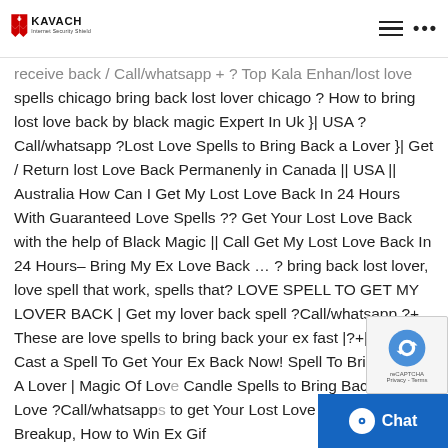KAVACH Internet Security Shield — navigation header
receive back / Call/whatsapp + ? Top Kala Enhan/lost love spells chicago bring back lost lover chicago ? How to bring lost love back by black magic Expert In Uk }| USA ?Call/whatsapp ?Lost Love Spells to Bring Back a Lover }| Get / Return lost Love Back Permanenly in Canada || USA || Australia How Can I Get My Lost Love Back In 24 Hours With Guaranteed Love Spells ?? Get Your Lost Love Back with the help of Black Magic || Call Get My Lost Love Back In 24 Hours– Bring My Ex Love Back … ? bring back lost lover, love spell that work, spells that? LOVE SPELL TO GET MY LOVER BACK | Get my lover back spell ?Call/whatsapp ?+ These are love spells to bring back your ex fast |?+|How to Cast a Spell To Get Your Ex Back Now! Spell To Bring Back A Lover | Magic Of Love Candle Spells to Bring Back Lost Love ?Call/whatsapp to get Your Lost Love Back after Breakup, How to Win Ex Gif